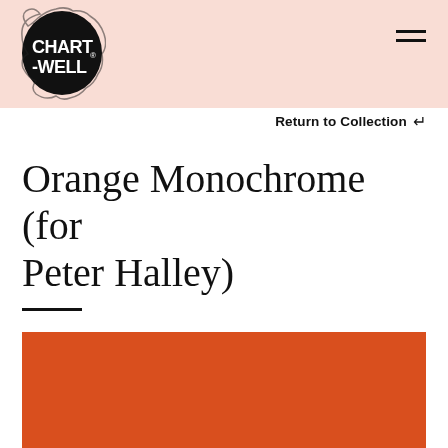CHART-WELL
Return to Collection
Orange Monochrome (for Peter Halley)
[Figure (illustration): Solid orange-red monochrome rectangle, partially cropped at bottom of page, representing the artwork 'Orange Monochrome (for Peter Halley)']